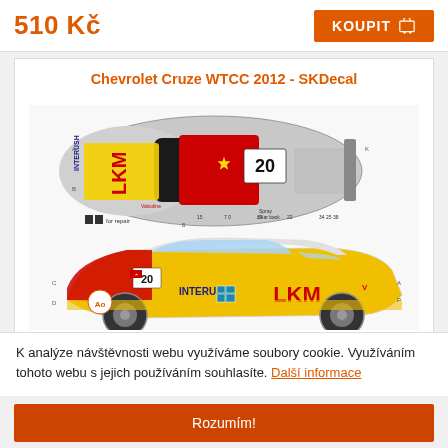510 Kč
KOUPIT
[Figure (illustration): Chevrolet Cruze WTCC 2012 SKDecal decal sheet showing top view and side view of racing car with LKM, INTERUSH, Valvoline, Hyundai and Chinese flag livery, number 20, with assembly diagrams and labels.]
Chevrolet Cruze WTCC 2012 - SKDecal
K analýze návštěvnosti webu využíváme soubory cookie. Využíváním tohoto webu s jejich používáním souhlasíte. Další informace
Rozumím!